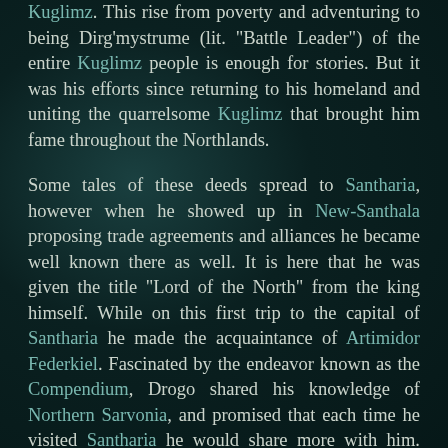Kuglimz. This rise from poverty and adventuring to being Dirg'mystrume (lit. "Battle Leader") of the entire Kuglimz people is enough for stories. But it was his efforts since returning to his homeland and uniting the quarrelsome Kuglimz that brought him fame throughout the Northlands.

Some tales of these deeds spread to Santharia, however when he showed up in New-Santhala proposing trade agreements and alliances he became well known there as well. It is here that he was given the title "Lord of the North" from the king himself. While on this first trip to the capital of Santharia he made the acquaintance of Artimidor Federkiel. Fascinated by the endeavor known as the Compendium, Drogo shared his knowledge of Northern Sarvonia, and promised that each time he visited Santharia he would share more with him. While also there, he made the re-acquaintance of Avennía "Wren" Asaiá whom he had adventured with when he had previously lived in Santharia. Since that first meeting he has come to know many Santharian notables including Masterbard Judith of Bardavos, Faugar of